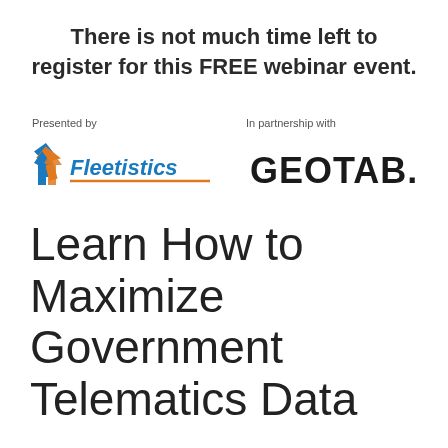There is not much time left to register for this FREE webinar event.
[Figure (logo): Fleetistics logo — stylized checkmark/arrow in blue and orange with italic text 'Fleetistics' and orange underline]
[Figure (logo): GEOTAB logo — bold dark text 'GEOTAB.' in condensed sans-serif]
Learn How to Maximize Government Telematics Data